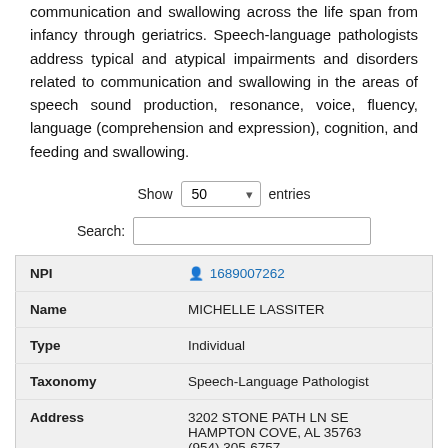communication and swallowing across the life span from infancy through geriatrics. Speech-language pathologists address typical and atypical impairments and disorders related to communication and swallowing in the areas of speech sound production, resonance, voice, fluency, language (comprehension and expression), cognition, and feeding and swallowing.
Show 50 entries
Search:
| Field | Value |
| --- | --- |
| NPI | 1689007262 |
| Name | MICHELLE LASSITER |
| Type | Individual |
| Taxonomy | Speech-Language Pathologist |
| Address | 3202 STONE PATH LN SE
HAMPTON COVE, AL 35763
(954) 305-6757 |
| Accepts Medicare? | Non-Participating Provider |